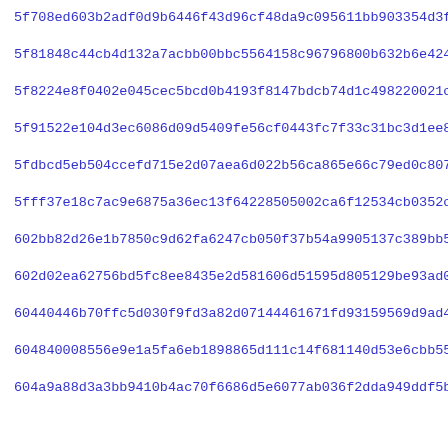5f708ed603b2adf0d9b6446f43d96cf48da9c095611bb903354d3fc49c82e
5f81848c44cb4d132a7acbb00bbc5564158c96796800b632b6e424b44c3ef
5f8224e8f0402e045cec5bcd0b4193f8147bdcb74d1c498220021cf75d1cd
5f91522e104d3ec6086d09d5409fe56cf0443fc7f33c31bc3d1ee86cf3a9c
5fdbcd5eb504ccefd715e2d07aea6d022b56ca865e66c79ed0c80707572da
5fff37e18c7ac9e6875a36ec13f64228505002ca6f12534cb0352c3d04ea0
602bb82d26e1b7850c9d62fa6247cb050f37b54a9905137c389bb529efe22
602d02ea62756bd5fc8ee8435e2d581606d51595d805129be93ad0cb2f148
60440446b70ffc5d030f9fd3a82d07144616 71fd93159569d9ad43dedea31
604840008556e9e1a5fa6eb1898865d111c14f681140d53e6cbb55b973bd6
604a9a88d3a3bb9410b4ac70f6686d5e6077ab036f2dda949ddf5b6ea7078